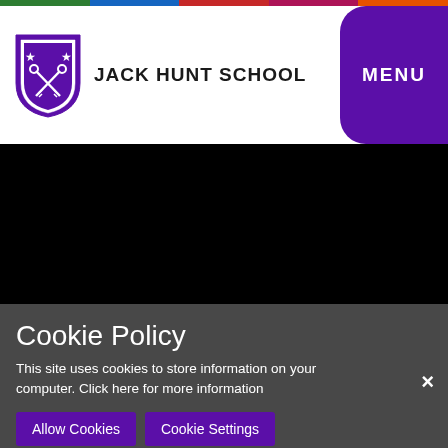[Figure (logo): Jack Hunt School crest/shield logo with two crossed keys, two stars, purple and white colors]
JACK HUNT SCHOOL
[Figure (screenshot): Black area representing a video or hero image placeholder]
Cookie Policy
This site uses cookies to store information on your computer. Click here for more information
Allow Cookies   Cookie Settings